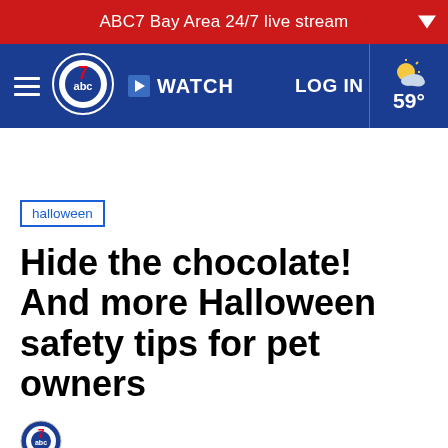ABC7 Bay Area 24/7 live stream
≡ abc7 ▶ WATCH   LOG IN   59°
halloween
Hide the chocolate! And more Halloween safety tips for pet owners
[Figure (logo): ABC7 small logo icon in byline area]